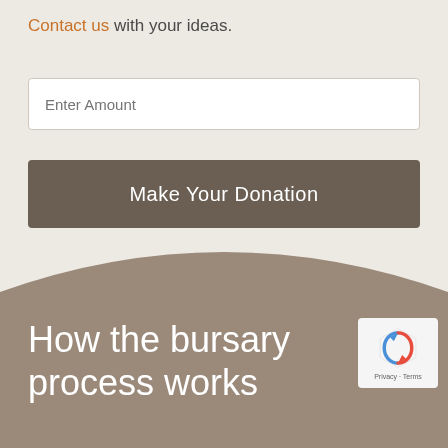Contact us with your ideas.
Enter Amount
Make Your Donation
How the bursary process works